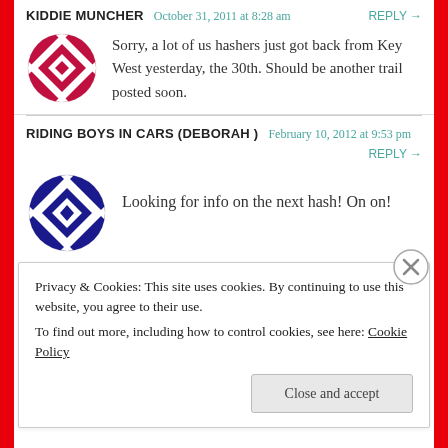KIDDIE MUNCHER   October 31, 2011 at 8:28 am   REPLY →
Sorry, a lot of us hashers just got back from Key West yesterday, the 30th. Should be another trail posted soon.
RIDING BOYS IN CARS (DEBORAH )   February 10, 2012 at 9:53 pm   REPLY →
Looking for info on the next hash! On on!
Privacy & Cookies: This site uses cookies. By continuing to use this website, you agree to their use. To find out more, including how to control cookies, see here: Cookie Policy
Close and accept